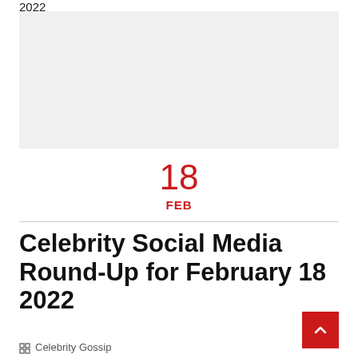2022
[Figure (other): Large light grey placeholder image area]
18
FEB
Celebrity Social Media Round-Up for February 18 2022
Celebrity Gossip